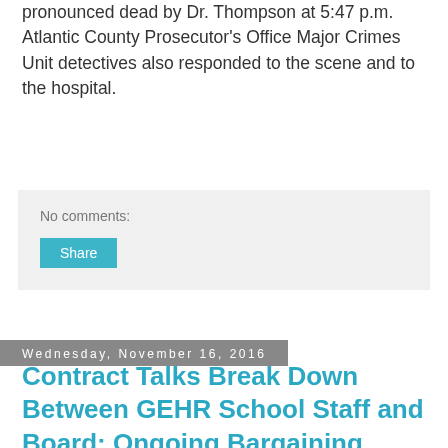pronounced dead by Dr. Thompson at 5:47 p.m. Atlantic County Prosecutor's Office Major Crimes Unit detectives also responded to the scene and to the hospital.
No comments:
Share
Wednesday, November 16, 2016
Contract Talks Break Down Between GEHR School Staff and Board; Ongoing Bargaining Crisis Continues
[Figure (photo): Crowd of people holding red protest signs reading 'SETTLE NOW' at what appears to be a school board meeting or negotiation session.]